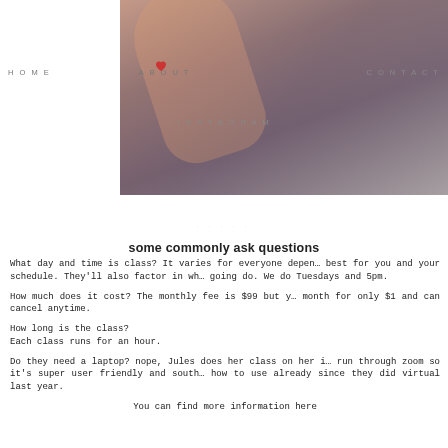HOME   ABOUT   CONTACT   INSTAGRAM
[Figure (photo): Close-up photo of a hand/finger touching or holding a phone/tablet, with purple fabric in background]
some commonly ask questions
What day and time is class? It varies for everyone depending on what works best for you and your schedule. They'll also factor in what goals you're going do. We do Tuesdays and 5pm.
How much does it cost? The monthly fee is $99 but you can try it for a month for only $1 and can cancel anytime.
How long is the class?
Each class runs for an hour.
Do they need a laptop? nope, Jules does her class on her iPad and they run through zoom so it's super user friendly and students know how to use already since they did virtual last year.
You can find more information here